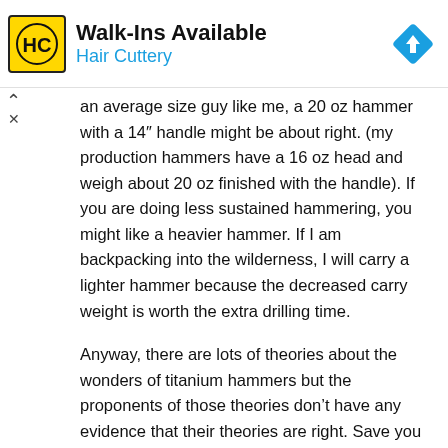[Figure (logo): Hair Cuttery advertisement banner with HC logo, 'Walk-Ins Available' text, 'Hair Cuttery' subtitle in blue, and a blue navigation diamond icon on the right]
an average size guy like me, a 20 oz hammer with a 14" handle might be about right. (my production hammers have a 16 oz head and weigh about 20 oz finished with the handle). If you are doing less sustained hammering, you might like a heavier hammer. If I am backpacking into the wilderness, I will carry a lighter hammer because the decreased carry weight is worth the extra drilling time.
Anyway, there are lots of theories about the wonders of titanium hammers but the proponents of those theories don't have any evidence that their theories are right. Save you money and by a lighter steel hammer.
.